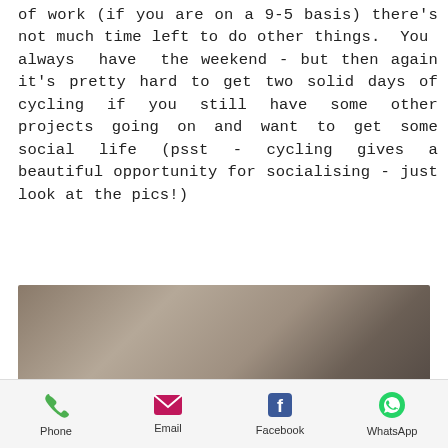of work (if you are on a 9-5 basis) there's not much time left to do other things. You always have the weekend - but then again it's pretty hard to get two solid days of cycling if you still have some other projects going on and want to get some social life (psst - cycling gives a beautiful opportunity for socialising - just look at the pics!)
[Figure (photo): A blurred brownish-grey photo, likely of cyclists socialising outdoors.]
Phone | Email | Facebook | WhatsApp